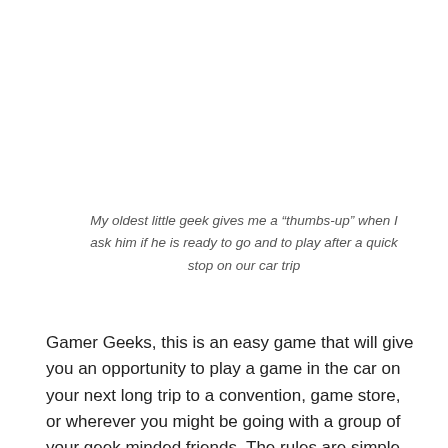My oldest little geek gives me a “thumbs-up” when I ask him if he is ready to go and to play after a quick stop on our car trip
Gamer Geeks, this is an easy game that will give you an opportunity to play a game in the car on your next long trip to a convention, game store, or wherever you might be going with a group of your geek minded friends. The rules are simple enough to teach in a few minutes, the